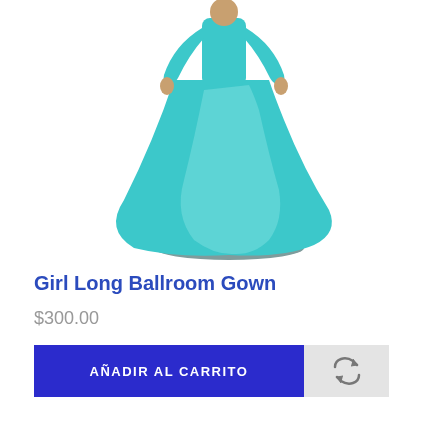[Figure (photo): A mannequin wearing a long teal/turquoise ballroom gown with long sleeves and a flowing skirt, displayed on a white background]
Girl Long Ballroom Gown
$300.00
AÑADIR AL CARRITO